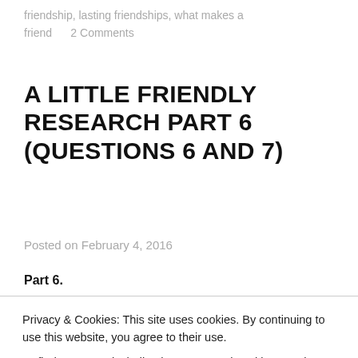friendship, lasting friendships, what makes a friend       2 Comments
A LITTLE FRIENDLY RESEARCH PART 6 (QUESTIONS 6 AND 7)
Posted on February 4, 2016
Part 6.
Privacy & Cookies: This site uses cookies. By continuing to use this website, you agree to their use. To find out more, including how to control cookies, see here: Cookie Policy
relaxing, sitting by the pool, but the normal world is